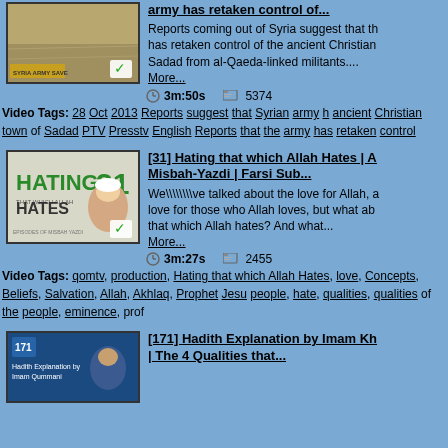[Figure (screenshot): Video thumbnail for Syria army retakes control article]
army has retaken control of...
Reports coming out of Syria suggest that the has retaken control of the ancient Christian Sadad from al-Qaeda-linked militants.... More...
3m:50s   5374
Video Tags: 28 Oct 2013 Reports suggest that Syrian army h ancient Christian town of Sadad PTV Presstv English Reports that the army has retaken control
[Figure (screenshot): Video thumbnail for Hating 31 Hates - Misbah-Yazdi Farsi Sub]
[31] Hating that which Allah Hates | A Misbah-Yazdi | Farsi Sub...
We\\\\\\\\ve talked about the love for Allah, a love for those who Allah loves, but what ab that which Allah hates? And what... More...
3m:27s   2455
Video Tags: qomtv, production, Hating that which Allah Hates, love, Concepts, Beliefs, Salvation, Allah, Akhlaq, Prophet Jesu people, hate, qualities, qualities of the people, eminence, prof
[Figure (screenshot): Video thumbnail for Hadith Explanation by Imam Kh - The 4 Qualities]
[171] Hadith Explanation by Imam Kh | The 4 Qualities that...